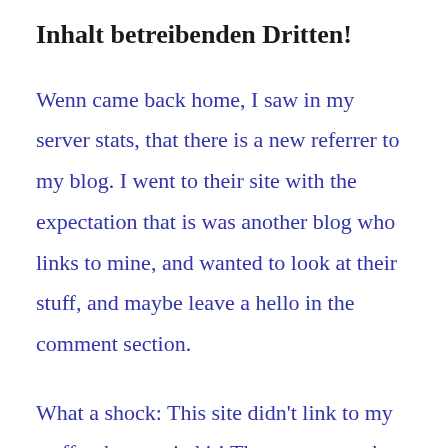Inhalt betreibenden Dritten!
Wenn came back home, I saw in my server stats, that there is a new referrer to my blog. I went to their site with the expectation that is was another blog who links to mine, and wanted to look at their stuff, and maybe leave a hello in the comment section.
What a shock: This site didn’t link to my stuff – they copied it! They aggregated and republished my complete RSS-Feed. Now